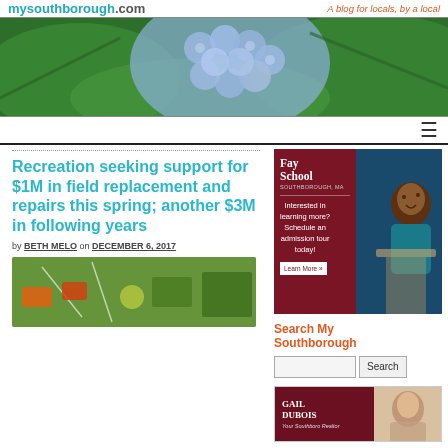mysouthborough.com — A blog for locals, by a local
[Figure (photo): Banner photo of blue hydrangea flowers with green leaves]
Recreation seeking support for $1M in field replacement and repairs this spring; another $3M in following years
by BETH MELO on DECEMBER 6, 2017
[Figure (photo): Thumbnail image of article content showing field/sports related imagery]
[Figure (photo): Fay School advertisement — Interested in learning more? Schedule an admission tour today! Learn More »]
Search My Southborough
[Figure (photo): Gail DuBois — Your Southboro Realtor advertisement]